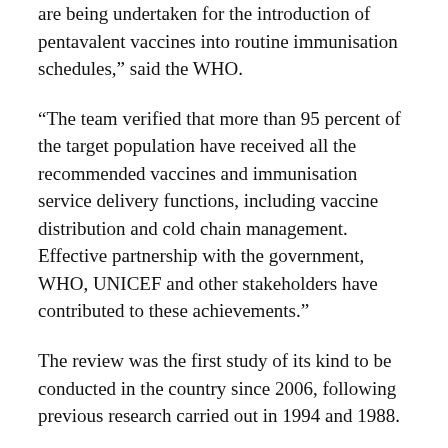are being undertaken for the introduction of pentavalent vaccines into routine immunisation schedules,” said the WHO.
“The team verified that more than 95 percent of the target population have received all the recommended vaccines and immunisation service delivery functions, including vaccine distribution and cold chain management. Effective partnership with the government, WHO, UNICEF and other stakeholders have contributed to these achievements.”
The review was the first study of its kind to be conducted in the country since 2006, following previous research carried out in 1994 and 1988.
“Basic right”